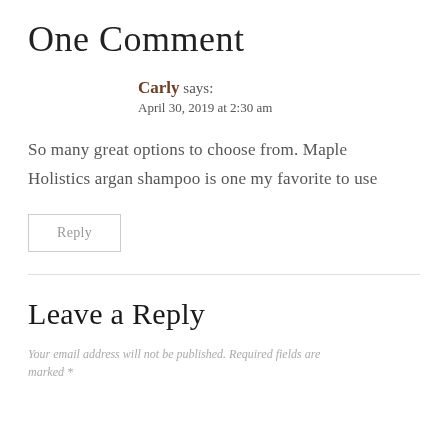One Comment
Carly says:
April 30, 2019 at 2:30 am
So many great options to choose from. Maple Holistics argan shampoo is one my favorite to use
Reply
Leave a Reply
Your email address will not be published. Required fields are marked *